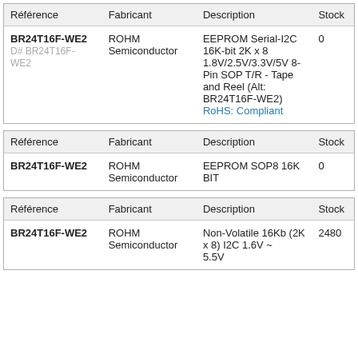| Référence | Fabricant | Description | Stock |
| --- | --- | --- | --- |
| BR24T16F-WE2
D# BR24T16F-WE2 | ROHM Semiconductor | EEPROM Serial-I2C 16K-bit 2K x 8 1.8V/2.5V/3.3V/5V 8-Pin SOP T/R - Tape and Reel (Alt: BR24T16F-WE2)
RoHS: Compliant | 0 |
| Référence | Fabricant | Description | Stock |
| --- | --- | --- | --- |
| BR24T16F-WE2 | ROHM Semiconductor | EEPROM SOP8 16K BIT | 0 |
| Référence | Fabricant | Description | Stock |
| --- | --- | --- | --- |
| BR24T16F-WE2 | ROHM Semiconductor | Non-Volatile 16Kb (2K x 8) I2C 1.6V ~ 5.5V... | 2480 |